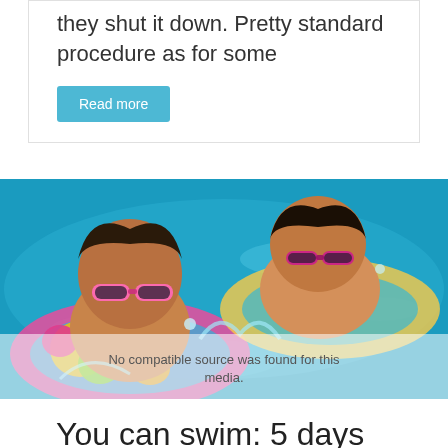they shut it down. Pretty standard procedure as for some
Read more
[Figure (photo): Two children swimming in a pool, wearing sunglasses and using colorful inflatable rings, water splashing around them. An overlay reads 'No compatible source was found for this media.']
You can swim: 5 days later